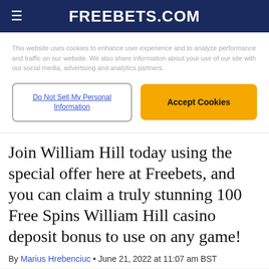FREEBETS.COM
This website uses cookies to enhance user experience and to analyze performance and traffic on our website. We also share information about your use of our site with our social media, advertising and analytics partners.
Do Not Sell My Personal Information | Accept Cookies
Join William Hill today using the special offer here at Freebets, and you can claim a truly stunning 100 Free Spins William Hill casino deposit bonus to use on any game!
By Marius Hrebenciuc • June 21, 2022 at 11:07 am BST